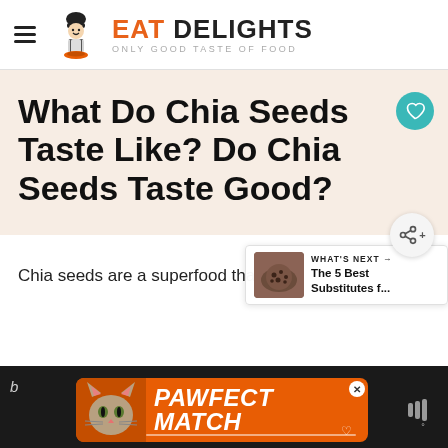EAT DELIGHTS — ONLY GOOD TASTE OF FOOD
What Do Chia Seeds Taste Like? Do Chia Seeds Taste Good?
Chia seeds are a superfood that
[Figure (screenshot): PAWFECT MATCH advertisement banner with cat image on orange background]
[Figure (screenshot): What's Next panel showing The 5 Best Substitutes f... with chia seeds thumbnail]